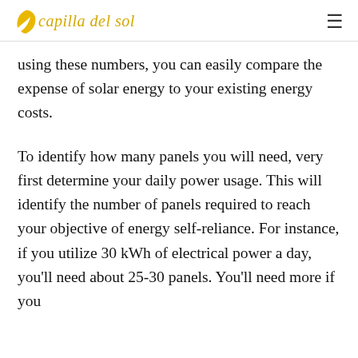capilla del sol
using these numbers, you can easily compare the expense of solar energy to your existing energy costs.
To identify how many panels you will need, very first determine your daily power usage. This will identify the number of panels required to reach your objective of energy self-reliance. For instance, if you utilize 30 kWh of electrical power a day, you'll need about 25-30 panels. You'll need more if you